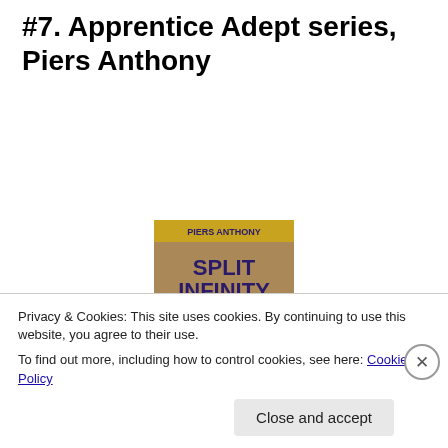#7. Apprentice Adept series, Piers Anthony
[Figure (illustration): Book cover for 'Split Infinity' by Piers Anthony showing a dark horse on a sandy/rocky landscape with the author name at top and title in large letters]
[Figure (photo): Partial view of a website block showing 'Let's get started' text on a beige background alongside a photo of hands holding a device]
Privacy & Cookies: This site uses cookies. By continuing to use this website, you agree to their use.
To find out more, including how to control cookies, see here: Cookie Policy